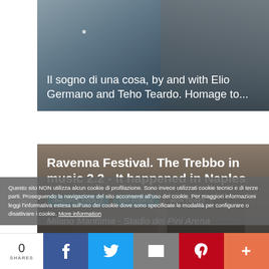[Figure (photo): Dark photo of a person, partially visible, with overlay text about 'Il sogno di una cosa' performance by Elio Germano and Teho Teardo]
Il sogno di una cosa, by and with Elio Germano and Teho Teardo. Homage to...
[Figure (photo): Dark photo of two people, with text overlay for Ravenna Festival event card]
Ravenna Festival. The Trebbo in music 2.2 - It happened in Naples
MULTIPLE EVENTS  TOP EVENTS  WITH TICKET
Milano Marittima - Stadio dei Pini Arena
Questo sito NON utilizza alcun cookie di profilazione. Sono invece utilizzati cookie tecnici e di terze parti. Proseguendo la navigazione del sito acconsenti all'uso dei cookie. Per maggiori informazioni leggi l'informativa estesa sull'uso dei cookie dove sono specificate le modalità per configurare o disattivare i cookie. More information
0 SHARES